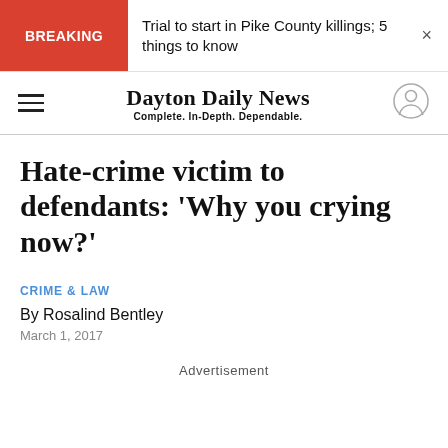BREAKING — Trial to start in Pike County killings; 5 things to know
Dayton Daily News — Complete. In-Depth. Dependable.
Hate-crime victim to defendants: 'Why you crying now?'
CRIME & LAW
By Rosalind Bentley
March 1, 2017
Advertisement